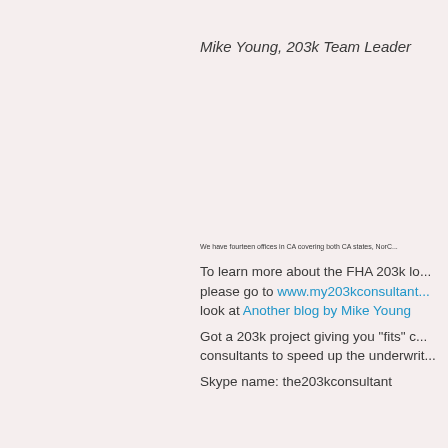Mike Young, 203k Team Leader
We have fourteen offices in CA covering both CA states, NorC...
To learn more about the FHA 203k lo... please go to www.my203kconsultant... look at Another blog by Mike Young
Got a 203k project giving you "fits" c... consultants to speed up the underwrit...
Skype name: the203kconsultant